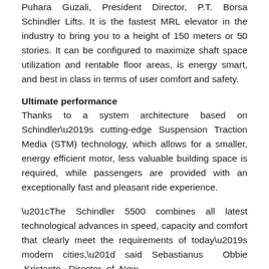Puhara Guzali, President Director, PT Borsa Schindler Lifts. It is the fastest MRL elevator in the industry to bring you to a height of 150 meters or 50 stories. It can be configured to maximize shaft space utilization and rentable floor areas, is energy smart, and best in class in terms of user comfort and safety.
Ultimate performance
Thanks to a system architecture based on Schindler’s cutting-edge Suspension Traction Media (STM) technology, which allows for a smaller, energy efficient motor, less valuable building space is required, while passengers are provided with an exceptionally fast and pleasant ride experience.
“The Schindler 5500 combines all latest technological advances in speed, capacity and comfort that clearly meet the requirements of today’s modern cities,” said Sebastianus Obbie Kristanto, Director of New